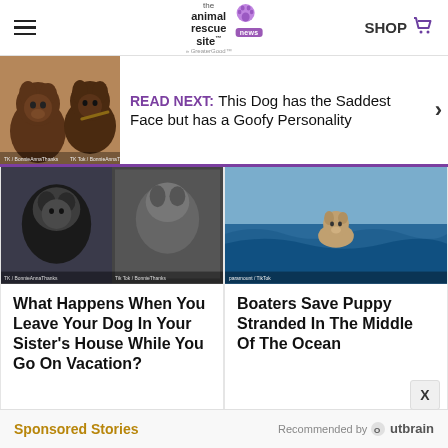The Animal Rescue Site News - SHOP
[Figure (screenshot): Read Next banner with two chocolate Labrador Retrievers, text: READ NEXT: This Dog has the Saddest Face but has a Goofy Personality]
[Figure (photo): Article card image: dog in sister's house, multiple photo collage]
What Happens When You Leave Your Dog In Your Sister's House While You Go On Vacation?
[Figure (photo): Article card image: puppy in ocean water]
Boaters Save Puppy Stranded In The Middle Of The Ocean
Sponsored Stories   Recommended by Outbrain